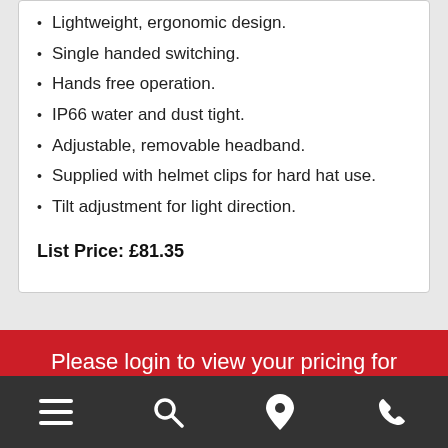Lightweight, ergonomic design.
Single handed switching.
Hands free operation.
IP66 water and dust tight.
Adjustable, removable headband.
Supplied with helmet clips for hard hat use.
Tilt adjustment for light direction.
List Price: £81.35
Please login to view your pricing for this product.